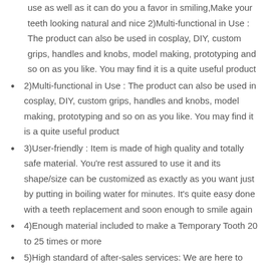use as well as it can do you a favor in smiling,Make your teeth looking natural and nice 2)Multi-functional in Use : The product can also be used in cosplay, DIY, custom grips, handles and knobs, model making, prototyping and so on as you like. You may find it is a quite useful product
2)Multi-functional in Use : The product can also be used in cosplay, DIY, custom grips, handles and knobs, model making, prototyping and so on as you like. You may find it is a quite useful product
3)User-friendly : Item is made of high quality and totally safe material. You're rest assured to use it and its shape/size can be customized as exactly as you want just by putting in boiling water for minutes. It's quite easy done with a teeth replacement and soon enough to smile again
4)Enough material included to make a Temporary Tooth 20 to 25 times or more
5)High standard of after-sales services: We are here to provide easy way of tooth repairing and tooth replacement for you. Any